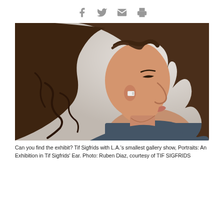[Figure (other): Social sharing icons: Facebook, Twitter, Email, Print — displayed in a row, gray colored]
[Figure (photo): Side profile photo of a woman with dark brown wavy hair, facing right, with a small white in-ear device (tiny gallery exhibit) visible in her ear. Background is light gray/white. She wears a dark patterned top.]
Can you find the exhibit? Tif Sigfrids with L.A.'s smallest gallery show, Portraits: An Exhibition in Tif Sigfrids' Ear. Photo: Ruben Diaz, courtesy of TIF SIGFRIDS